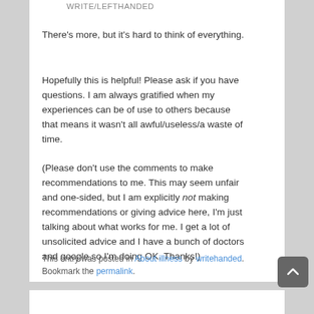WRITE/LEFTHANDED
There's more, but it's hard to think of everything.
Hopefully this is helpful! Please ask if you have questions. I am always gratified when my experiences can be of use to others because that means it wasn't all awful/useless/a waste of time.
(Please don't use the comments to make recommendations to me. This may seem unfair and one-sided, but I am explicitly not making recommendations or giving advice here, I'm just talking about what works for me. I get a lot of unsolicited advice and I have a bunch of doctors and google so I'm doing OK. Thanks!)
This entry was posted in About illness by writehanded. Bookmark the permalink.